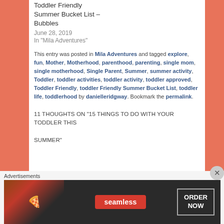Toddler Friendly Summer Bucket List – Bubbles
June 28, 2019
In "Mila Adventures"
This entry was posted in Mila Adventures and tagged explore, fun, Mother, Motherhood, parenthood, parenting, single mom, single motherhood, Single Parent, Summer, summer activity, Toddler, toddler activities, toddler activity, toddler approved, Toddler Friendly, toddler Friendly Summer Bucket List, toddler life, toddlerhood by danielleridgway. Bookmark the permalink.
11 THOUGHTS ON “15 THINGS TO DO WITH YOUR TODDLER THIS SUMMER”
Advertisements
[Figure (infographic): Seamless food delivery advertisement banner showing pizza image on left, Seamless red logo in center, and ORDER NOW button on right, on dark background]